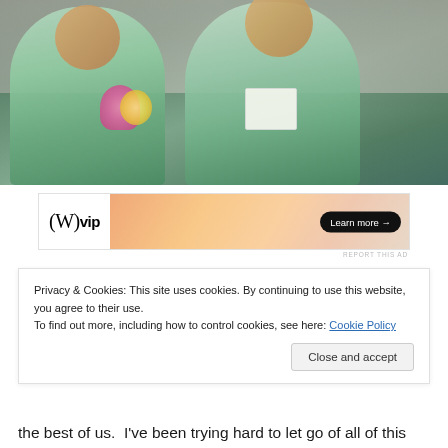[Figure (photo): Two young girls sitting side by side wearing matching green and teal floral print dresses. The girl on the left holds a bouquet of colorful flowers, the girl on the right holds a hand-drawn card with flowers.]
[Figure (other): Advertisement banner: W VIP logo on left white section, gradient peach/orange background in center, black rounded button on right reading 'Learn more →']
REPORT THIS AD
Privacy & Cookies: This site uses cookies. By continuing to use this website, you agree to their use.
To find out more, including how to control cookies, see here: Cookie Policy
Close and accept
the best of us.  I've been trying hard to let go of all of this